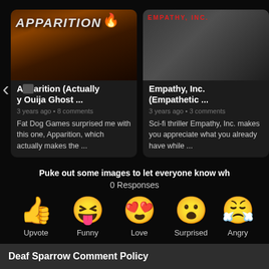[Figure (screenshot): Apparition movie card with dark orange/brown background, bold white italic text APPARITION with flame icon]
Apparition (Actually y Ouija Ghost ...
3 years ago • 8 comments
Fat Dog Games surprised me with this one, Apparition, which actually makes the ...
[Figure (screenshot): Empathy Inc movie card with grayscale background showing person with headset, red text EMPATHY, INC. at top]
Empathy, Inc. (Empathetic ...
3 years ago • 3 comments
Sci-fi thriller Empathy, Inc. makes you appreciate what you already have while ...
Puke out some images to let everyone know wh
0 Responses
[Figure (infographic): Row of reaction emoji buttons: thumbs up (Upvote), XD face (Funny), heart eyes (Love), surprised face (Surprised), exhausted face (Angry)]
Upvote
Funny
Love
Surprised
Angry
Deaf Sparrow Comment Policy